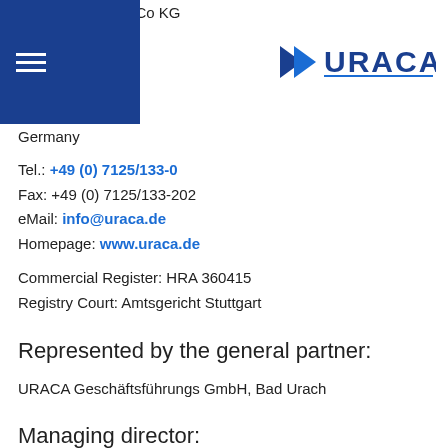URACA GmbH & Co KG
Sirchinger Str. 15
72574 Bad Urach
Germany
Tel.: +49 (0) 7125/133-0
Fax: +49 (0) 7125/133-202
eMail: info@uraca.de
Homepage: www.uraca.de
Commercial Register: HRA 360415
Registry Court: Amtsgericht Stuttgart
Represented by the general partner:
URACA Geschäftsführungs GmbH, Bad Urach
Managing director: